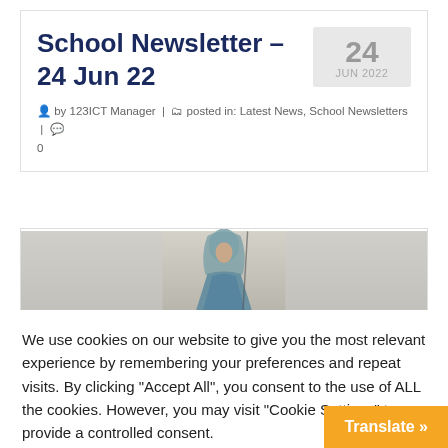School Newsletter – 24 Jun 22
by 123ICT Manager | posted in: Latest News, School Newsletters | 0
[Figure (photo): Partial photo of a religious statue (likely Virgin Mary) against a light background, cropped at top of page section]
We use cookies on our website to give you the most relevant experience by remembering your preferences and repeat visits. By clicking "Accept All", you consent to the use of ALL the cookies. However, you may visit "Cookie Settings" to provide a controlled consent.
Cookie Settings   Accept All
Translate »